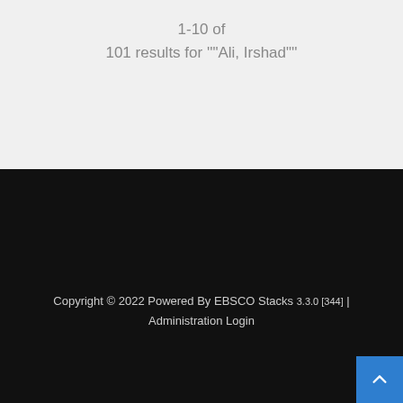1-10 of
101 results for ""Ali, Irshad""
Copyright © 2022 Powered By EBSCO Stacks 3.3.0 [344] | Administration Login